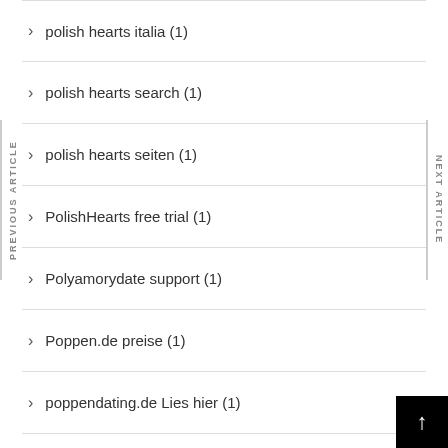polish hearts italia (1)
polish hearts search (1)
polish hearts seiten (1)
PolishHearts free trial (1)
Polyamorydate support (1)
Poppen.de preise (1)
poppendating.de Lies hier (1)
poppendating.de st?bern Sie diese Web-Site (1)